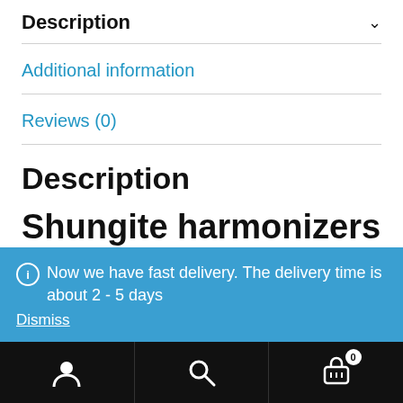Description
Additional information
Reviews (0)
Description
Shungite harmonizers
Now we have fast delivery. The delivery time is about 2 - 5 days
Dismiss
User | Search | Cart (0)